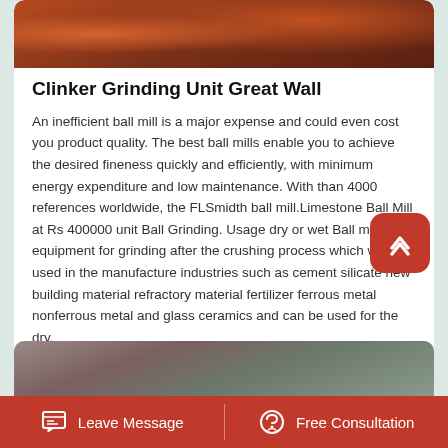[Figure (photo): Orange/red industrial grinding equipment machinery, partial view at top of card]
Clinker Grinding Unit Great Wall
An inefficient ball mill is a major expense and could even cost you product quality. The best ball mills enable you to achieve the desired fineness quickly and efficiently, with minimum energy expenditure and low maintenance. With than 4000 references worldwide, the FLSmidth ball mill.Limestone Ball Mill at Rs 400000 unit Ball Grinding. Usage dry or wet Ball mill key equipment for grinding after the crushing process which widely used in the manufacture industries such as cement silicate new building material refractory material fertilizer ferrous metal nonferrous metal and glass ceramics and can be used for the dry.
[Figure (photo): Partial view of industrial machinery at bottom of page]
Leave Message   Free Consultation